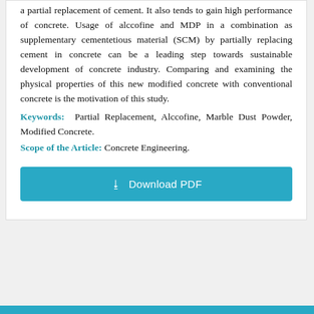a partial replacement of cement. It also tends to gain high performance of concrete. Usage of alccofine and MDP in a combination as supplementary cementetious material (SCM) by partially replacing cement in concrete can be a leading step towards sustainable development of concrete industry. Comparing and examining the physical properties of this new modified concrete with conventional concrete is the motivation of this study.
Keywords: Partial Replacement, Alccofine, Marble Dust Powder, Modified Concrete.
Scope of the Article: Concrete Engineering.
[Figure (other): Download PDF button — a teal/cyan rectangular button with download icon and text 'Download PDF']